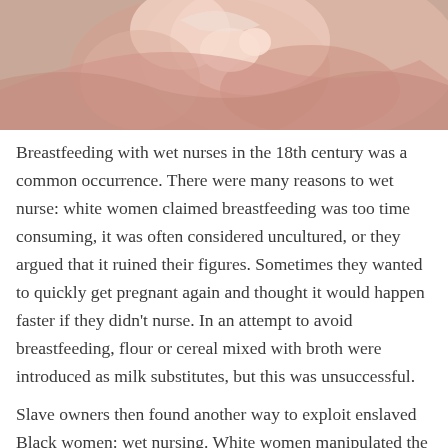[Figure (photo): Classical painting depicting a woman with an infant, in pinkish and warm tones, partial view cropped at top of page.]
Breastfeeding with wet nurses in the 18th century was a common occurrence. There were many reasons to wet nurse: white women claimed breastfeeding was too time consuming, it was often considered uncultured, or they argued that it ruined their figures. Sometimes they wanted to quickly get pregnant again and thought it would happen faster if they didn't nurse. In an attempt to avoid breastfeeding, flour or cereal mixed with broth were introduced as milk substitutes, but this was unsuccessful.
Slave owners then found another way to exploit enslaved Black women: wet nursing. White women manipulated the labor of Black women for...